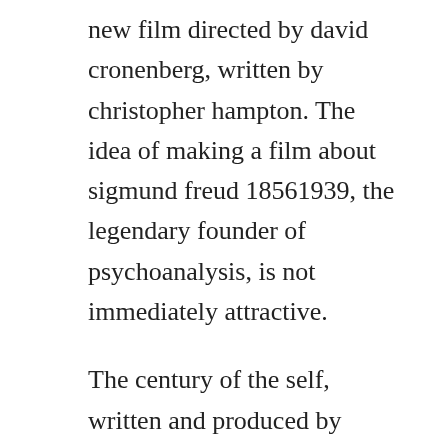new film directed by david cronenberg, written by christopher hampton. The idea of making a film about sigmund freud 18561939, the legendary founder of psychoanalysis, is not immediately attractive.
The century of the self, written and produced by adam curtis, is an exhaustive examination of his theories on human desire, and how theyre applied to platforms such as advertising, consumerism and politics. The screenplay was adapted by writer christopher hampton from his 2002 stage play the talking